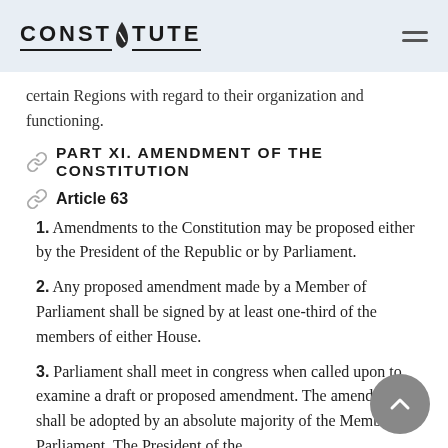CONSTITUTE
certain Regions with regard to their organization and functioning.
PART XI. AMENDMENT OF THE CONSTITUTION
Article 63
1. Amendments to the Constitution may be proposed either by the President of the Republic or by Parliament.
2. Any proposed amendment made by a Member of Parliament shall be signed by at least one-third of the members of either House.
3. Parliament shall meet in congress when called upon to examine a draft or proposed amendment. The amendment shall be adopted by an absolute majority of the Members of Parliament. The President of the